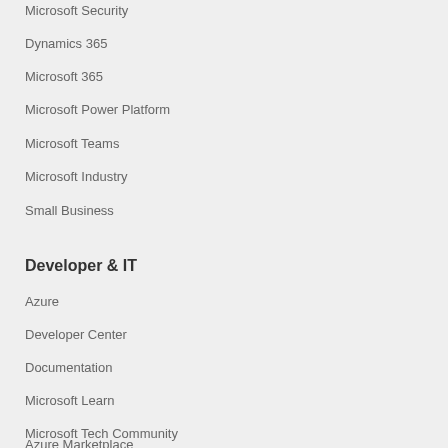Microsoft Security
Dynamics 365
Microsoft 365
Microsoft Power Platform
Microsoft Teams
Microsoft Industry
Small Business
Developer & IT
Azure
Developer Center
Documentation
Microsoft Learn
Microsoft Tech Community
Azure Marketplace